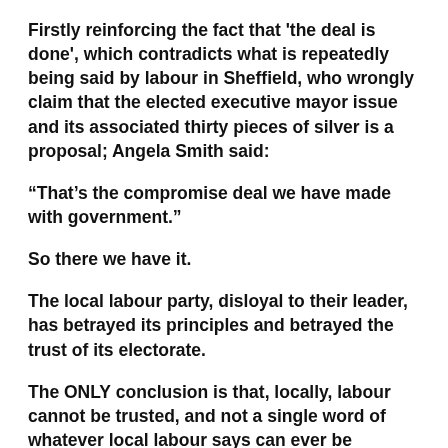Firstly reinforcing the fact that 'the deal is done', which contradicts what is repeatedly being said by labour in Sheffield, who wrongly claim that the elected executive mayor issue and its associated thirty pieces of silver is a proposal; Angela Smith said:
“That’s the compromise deal we have made with government.”
So there we have it.
The local labour party, disloyal to their leader, has betrayed its principles and betrayed the trust of its electorate.
The ONLY conclusion is that, locally, labour cannot be trusted, and not a single word of whatever local labour says can ever be believed.